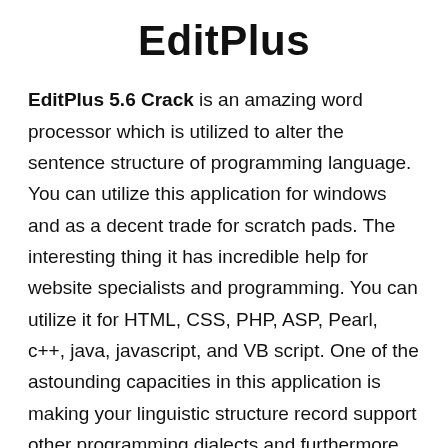EditPlus
EditPlus 5.6 Crack is an amazing word processor which is utilized to alter the sentence structure of programming language. You can utilize this application for windows and as a decent trade for scratch pads. The interesting thing it has incredible help for website specialists and programming. You can utilize it for HTML, CSS, PHP, ASP, Pearl, c++, java, javascript, and VB script. One of the astounding capacities in this application is making your linguistic structure record support other programming dialects and furthermore use for FTP and FTPS.FTP orders are utilized for transferring neighborhood